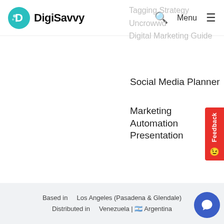DigiSavvy
Tagging Strategy
Uncrowwd
Digital Marketing Guide
Social Media Planner
Marketing Automation Presentation
Terms of Use   Privacy Policy
© 2010 - 2022 DigiSavvy is a Neat Digital Agency
Based in   Los Angeles (Pasadena & Glendale)
Distributed in   Venezuela | 🇦🇷 Argentina